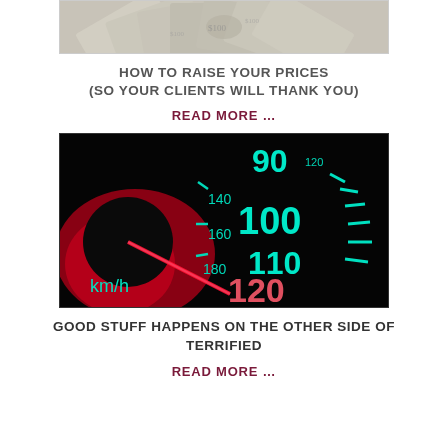[Figure (photo): Fan of US dollar bills spread out as a background image]
HOW TO RAISE YOUR PRICES (SO YOUR CLIENTS WILL THANK YOU)
READ MORE …
[Figure (photo): Close-up of a car speedometer showing teal/cyan numbers and tick marks on black background with red needle glowing near 120 km/h]
GOOD STUFF HAPPENS ON THE OTHER SIDE OF TERRIFIED
READ MORE …